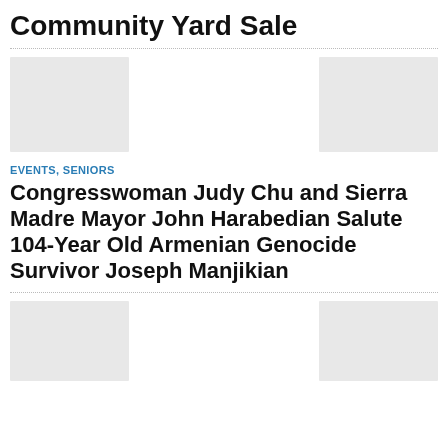Community Yard Sale
[Figure (photo): Three image placeholders in a row]
EVENTS, SENIORS
Congresswoman Judy Chu and Sierra Madre Mayor John Harabedian Salute 104-Year Old Armenian Genocide Survivor Joseph Manjikian
[Figure (photo): Three image placeholders in a row at the bottom]